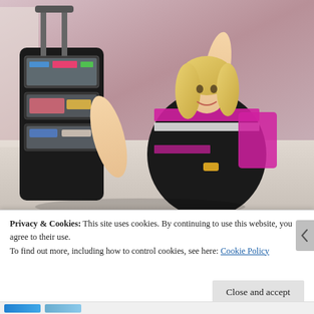[Figure (photo): A blonde woman in a pink and black striped top kneeling next to an open black rolling suitcase/luggage organizer with clear pockets filled with travel items, against a studio backdrop]
Privacy & Cookies: This site uses cookies. By continuing to use this website, you agree to their use.
To find out more, including how to control cookies, see here: Cookie Policy
Close and accept